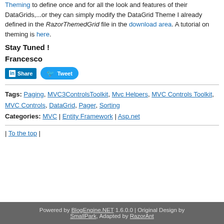Theming to define once and for all the look and features of their DataGrids,...or they can simply modify the DataGrid Theme I already defined in the RazorThemedGrid file in the download area. A tutorial on theming is here.
Stay Tuned !
Francesco
[Figure (other): LinkedIn Share button and Twitter Tweet button]
Tags: Paging, MVC3ControlsToolkit, Mvc Helpers, MVC Controls Toolkit, MVC Controls, DataGrid, Pager, Sorting
Categories: MVC | Entity Framework | Asp.net
| To the top |
Powered by BlogEngine.NET 1.6.0.0 | Original Design by SmallPark, Adapted by RazorAnt